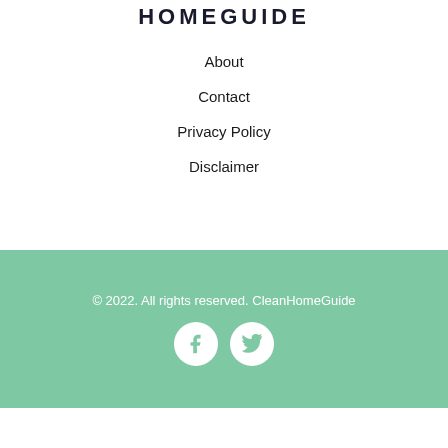HOMEGUIDE
About
Contact
Privacy Policy
Disclaimer
© 2022. All rights reserved. CleanHomeGuide
[Figure (logo): Facebook and Twitter social media icons as white circles with teal social logos]